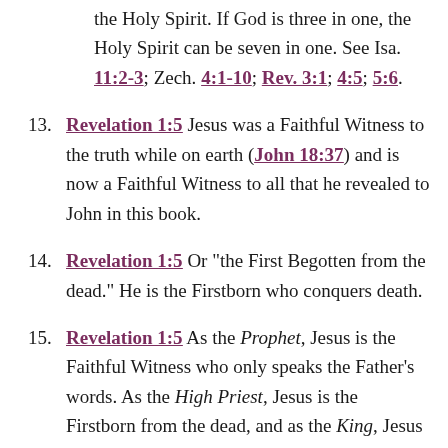the Holy Spirit. If God is three in one, the Holy Spirit can be seven in one. See Isa. 11:2-3; Zech. 4:1-10; Rev. 3:1; 4:5; 5:6.
13. Revelation 1:5 Jesus was a Faithful Witness to the truth while on earth (John 18:37) and is now a Faithful Witness to all that he revealed to John in this book.
14. Revelation 1:5 Or “the First Begotten from the dead.” He is the Firstborn who conquers death.
15. Revelation 1:5 As the Prophet, Jesus is the Faithful Witness who only speaks the Father’s words. As the High Priest, Jesus is the Firstborn from the dead, and as the King, Jesus is the Ruler of the kings of the earth.